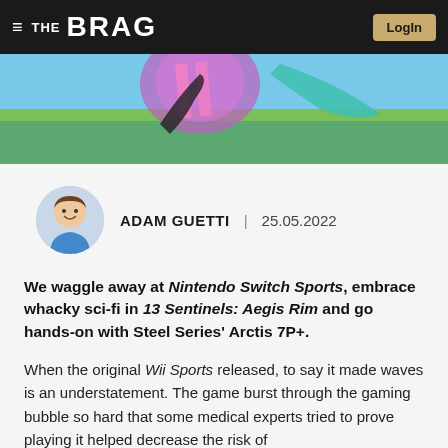≡ THE BRAG | Login
[Figure (photo): Hero image of Nintendo Switch Sports gameplay showing colorful character playing tennis/badminton]
ADAM GUETTI | 25.05.2022
We waggle away at Nintendo Switch Sports, embrace whacky sci-fi in 13 Sentinels: Aegis Rim and go hands-on with Steel Series' Arctis 7P+.
When the original Wii Sports released, to say it made waves is an understatement. The game burst through the gaming bubble so hard that some medical experts tried to prove playing it helped decrease the risk of